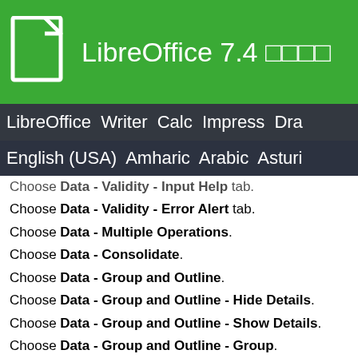LibreOffice 7.4 □□□□
LibreOffice Writer Calc Impress Dra
English (USA) Amharic Arabic Asturi
Choose Data - Validity - Input Help tab.
Choose Data - Validity - Error Alert tab.
Choose Data - Multiple Operations.
Choose Data - Consolidate.
Choose Data - Group and Outline.
Choose Data - Group and Outline - Hide Details.
Choose Data - Group and Outline - Show Details.
Choose Data - Group and Outline - Group.